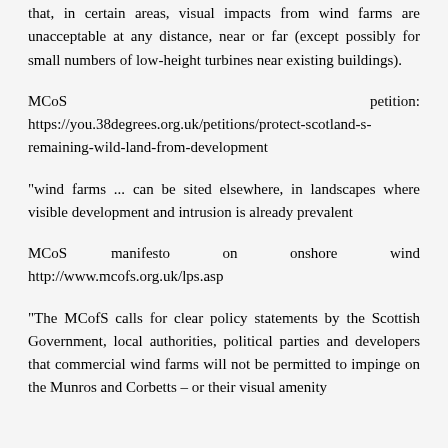that, in certain areas, visual impacts from wind farms are unacceptable at any distance, near or far (except possibly for small numbers of low-height turbines near existing buildings).
MCoS petition: https://you.38degrees.org.uk/petitions/protect-scotland-s-remaining-wild-land-from-development
"wind farms ... can be sited elsewhere, in landscapes where visible development and intrusion is already prevalent
MCoS manifesto on onshore wind http://www.mcofs.org.uk/lps.asp
"The MCofS calls for clear policy statements by the Scottish Government, local authorities, political parties and developers that commercial wind farms will not be permitted to impinge on the Munros and Corbetts – or their visual amenity